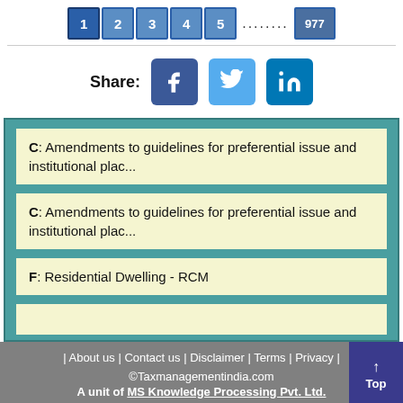[Figure (other): Pagination bar with page buttons 1 (active), 2, 3, 4, 5, dots, 977]
[Figure (other): Share buttons for Facebook, Twitter, LinkedIn with Share: label]
C: Amendments to guidelines for preferential issue and institutional plac...
C: Amendments to guidelines for preferential issue and institutional plac...
F: Residential Dwelling - RCM
| About us | Contact us | Disclaimer | Terms | Privacy | ©Taxmanagementindia.com A unit of MS Knowledge Processing Pvt. Ltd. All rights reserved.